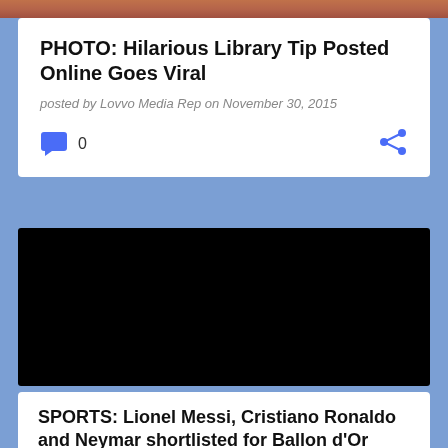[Figure (photo): Partial top image strip showing reddish/brownish photo content]
PHOTO: Hilarious Library Tip Posted Online Goes Viral
posted by Lovvo Media Rep on November 30, 2015
[Figure (other): Comment icon (blue speech bubble) with count 0 and share icon on the right]
[Figure (photo): Black image/video thumbnail]
SPORTS: Lionel Messi, Cristiano Ronaldo and Neymar shortlisted for Ballon d'Or 2015